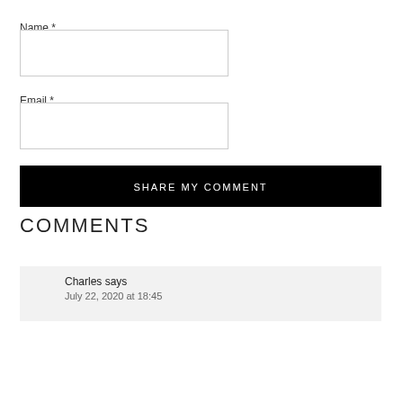Name *
[Figure (other): Empty text input box for Name field]
Email *
[Figure (other): Empty text input box for Email field]
SHARE MY COMMENT
COMMENTS
Charles says
July 22, 2020 at 18:45